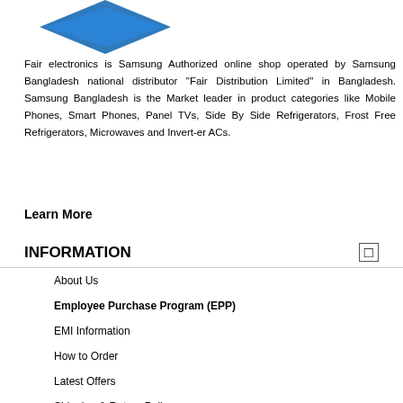[Figure (logo): Samsung / Fair Electronics logo with blue diamond shape partially visible at top]
Fair electronics is Samsung Authorized online shop operated by Samsung Bangladesh national distributor "Fair Distribution Limited" in Bangladesh. Samsung Bangladesh is the Market leader in product categories like Mobile Phones, Smart Phones, Panel TVs, Side By Side Refrigerators, Frost Free Refrigerators, Microwaves and Invert-er ACs.
Learn More
INFORMATION
About Us
Employee Purchase Program (EPP)
EMI Information
How to Order
Latest Offers
Shipping & Return Policy